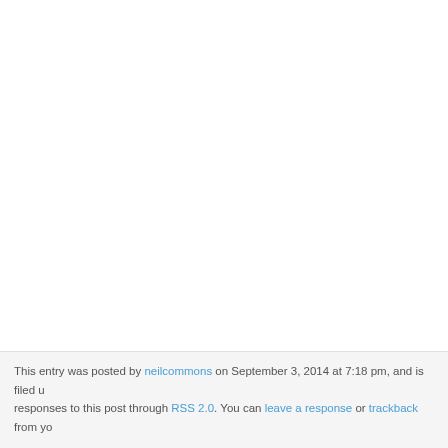This entry was posted by neilcommons on September 3, 2014 at 7:18 pm, and is filed u... responses to this post through RSS 2.0. You can leave a response or trackback from yo...